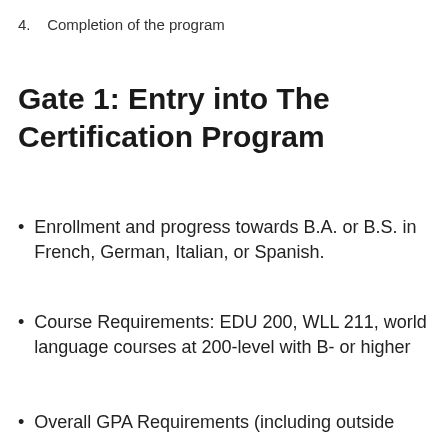4.    Completion of the program
Gate 1: Entry into The Certification Program
Enrollment and progress towards B.A. or B.S. in French, German, Italian, or Spanish.
Course Requirements: EDU 200, WLL 211, world language courses at 200-level with B- or higher
Overall GPA Requirements (including outside